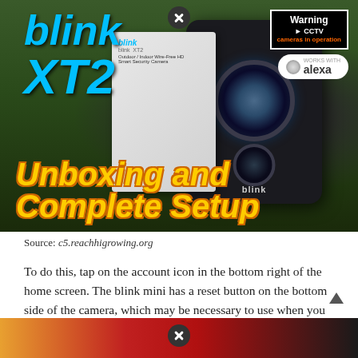[Figure (photo): Blink XT2 security camera unboxing and complete setup thumbnail image showing the camera, product box, Warning CCTV badge, and Alexa badge with text overlays 'blink', 'XT2', 'Unboxing and Complete Setup']
Source: c5.reachhigrowing.org
To do this, tap on the account icon in the bottom right of the home screen. The blink mini has a reset button on the bottom side of the camera, which may be necessary to use when you add it to a new or existing blink system.
[Figure (photo): Bottom advertisement strip with colorful background (orange, red, dark)]